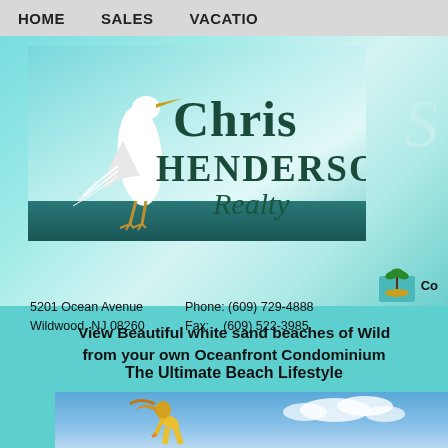HOME   SALES   VACATIO
[Figure (logo): Chris Henderson Realty logo with white heron/egret illustration on teal background]
5201 Ocean Avenue
Wildwood, NJ 08260
Phone: (609) 729-4888
Fax:    (609) 522-3985
[Figure (illustration): Small palm tree island icon with Co... text]
View Beautiful white sand beaches of Wild... from your own Oceanfront Condominium
The Ultimate Beach Lifestyle
[Figure (photo): Person bending over on beach picking up starfish against blue sky background]